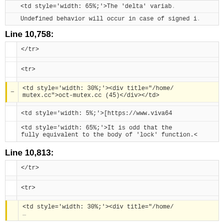[Figure (screenshot): Code diff block showing HTML table cell with style width 65% and text about delta variable and undefined behavior with signed integers]
Line 10,758:
[Figure (screenshot): Code diff block for line 10758 showing </tr>, <tr>, <td style='width: 30%;'><div title='/home/ mutex.cc'>oct-mutex.cc (45)</div></td> with yellow highlight and minus marker, then <td style='width: 5%;'>[https://www.viva64 and <td style='width: 65%;'>It is odd that the fully equivalent to the body of 'lock' function.<]
Line 10,813:
[Figure (screenshot): Code diff block for line 10813 showing </tr>, <tr>, <td style='width: 30%;'><div title='/home/ and partial line cut off]